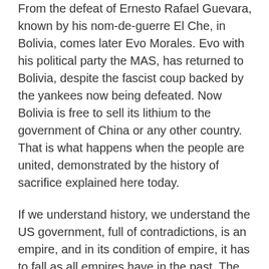From the defeat of Ernesto Rafael Guevara, known by his nom-de-guerre El Che, in Bolivia, comes later Evo Morales. Evo with his political party the MAS, has returned to Bolivia, despite the fascist coup backed by the yankees now being defeated. Now Bolivia is free to sell its lithium to the government of China or any other country. That is what happens when the people are united, demonstrated by the history of sacrifice explained here today.
If we understand history, we understand the US government, full of contradictions, is an empire, and in its condition of empire, it has to fall as all empires have in the past. The question is when, not if it will happen. It is unavoidable. How do we understand how empires have fallen, the same as the Roman or any other powerful empire? Well, from the inside. If the militant left, full of intellectuals, film directors, writers,